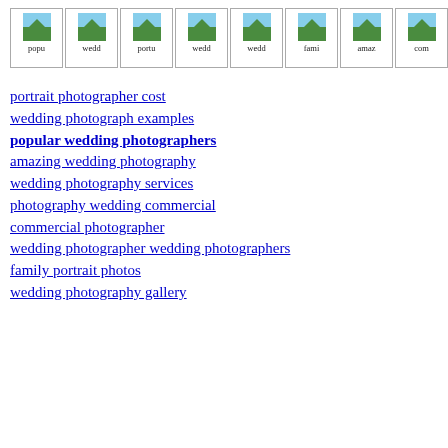[Figure (other): Row of 8 thumbnail images with labels: popu, wedd, portr, wedd, wedd, fami, amaz, com]
portrait photographer cost
wedding photograph examples
popular wedding photographers
amazing wedding photography
wedding photography services
photography wedding commercial
commercial photographer
wedding photographer wedding photographers
family portrait photos
wedding photography gallery